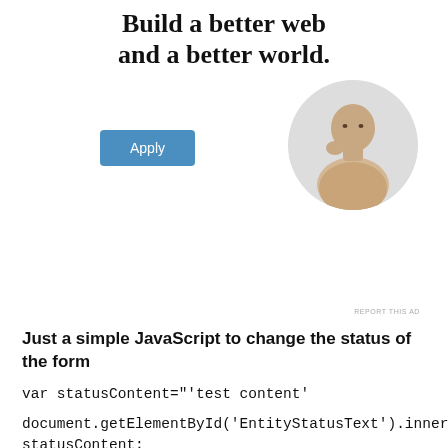[Figure (illustration): Advertisement banner with bold text 'Build a better web and a better world.' with a blue Apply button and a circular photo of a man thinking at a desk]
REPORT THIS AD
Just a simple JavaScript to change the status of the form
var statusContent="'test content'
document.getElementById('EntityStatusText').innerHTML= statusContent;
Preventing user from changing url in browser javascript
<body onBlur="self.focus();"}>